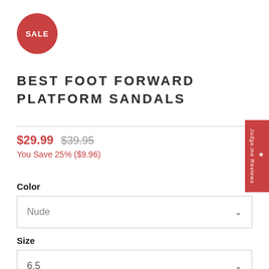[Figure (other): Red circular SALE badge]
BEST FOOT FORWARD PLATFORM SANDALS
$29.99  $39.95
You Save 25% ($9.96)
Color
Nude
Size
6.5
Qty